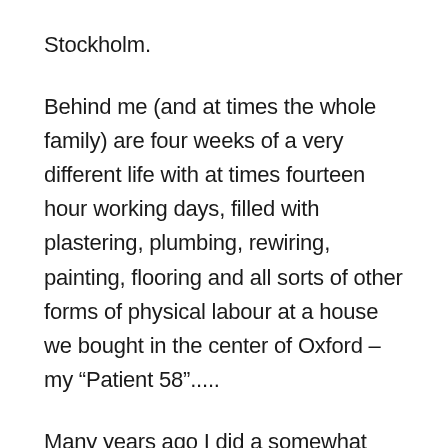Stockholm.
Behind me (and at times the whole family) are four weeks of a very different life with at times fourteen hour working days, filled with plastering, plumbing, rewiring, painting, flooring and all sorts of other forms of physical labour at a house we bought in the center of Oxford – my “Patient 58”.....
Many years ago I did a somewhat similar